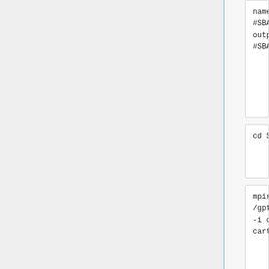[Figure (screenshot): Code block showing SBATCH job script lines: name=mpi_6ME2_VS_AR, #SBATCH --output=6ME2_VS_mpi.out, #SBATCH -p long-28core]
[Figure (screenshot): Code block showing: cd $SLURM_SUBMIT_DIR]
[Figure (screenshot): Code block showing: mpirun -np 28 /gpfs/projects/AMS536/zzz.prog -i cartmin.in -o cartmin.out]
We are using mpi again to speed up the energy minimization, so if you choose to adjust the number of nodes being used to speed it up even further, adjust the file accordingly as mentioned in the virtual screen using MPI section. Once you are happy with the submit file, you can start it by typing the following command into